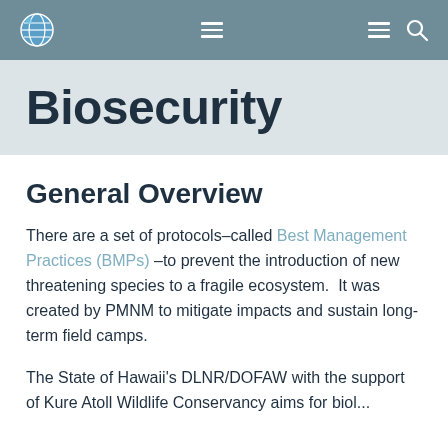[Navigation bar with globe logo, hamburger menu icons, and search icon]
Biosecurity
General Overview
There are a set of protocols–called Best Management Practices (BMPs) –to prevent the introduction of new threatening species to a fragile ecosystem.  It was created by PMNM to mitigate impacts and sustain long-term field camps.
The State of Hawaii's DLNR/DOFAW with the support of Kure Atoll Wildlife Conservancy aims for biol...